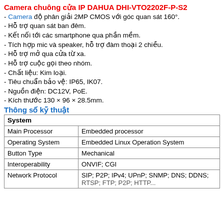Camera chuông cửa IP DAHUA DHI-VTO2202F-P-S2
- Camera độ phân giải 2MP CMOS với góc quan sát 160°.
- Hỗ trợ quan sát ban đêm.
- Kết nối tới các smartphone qua phần mềm.
- Tích hợp mic và speaker, hỗ trợ đàm thoại 2 chiều.
- Hỗ trợ mở qua cửa từ xa.
- Hỗ trợ cuộc gọi theo nhóm.
- Chất liệu: Kim loại.
- Tiêu chuẩn bảo vệ: IP65, IK07.
- Nguồn điện: DC12V, PoE.
- Kích thước 130 × 96 × 28.5mm.
Thông số kỹ thuật
| System |  |
| --- | --- |
| Main Processor | Embedded processor |
| Operating System | Embedded Linux Operation System |
| Button Type | Mechanical |
| Interoperability | ONVIF; CGI |
| Network Protocol | SIP; P2P; IPv4; UPnP; SNMP; DNS; DDNS; RTSP; FTP; P2P; HTTP... |